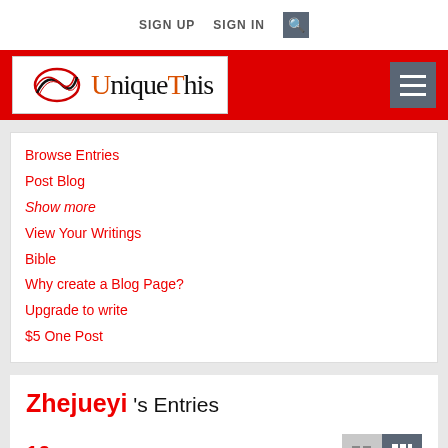SIGN UP   SIGN IN   [search]
[Figure (logo): UniqueThis logo with stylized swirl and orange/black lettering on white background, inside red header bar with hamburger menu button]
Browse Entries
Post Blog
Show more
View Your Writings
Bible
Why create a Blog Page?
Upgrade to write
$5 One Post
Zhejueyi 's Entries
10 blogs